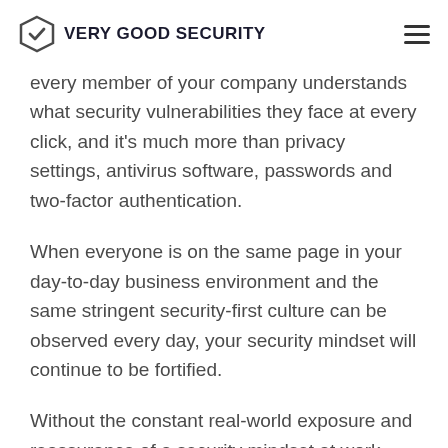VERY GOOD SECURITY
every member of your company understands what security vulnerabilities they face at every click, and it's much more than privacy settings, antivirus software, passwords and two-factor authentication.
When everyone is on the same page in your day-to-day business environment and the same stringent security-first culture can be observed every day, your security mindset will continue to be fortified.
Without the constant real-world exposure and reassurance of a security mindset at work, your security attitude might start to gradually deteriorate – so making your company's security-first culture a priority is vital if you want to keep a